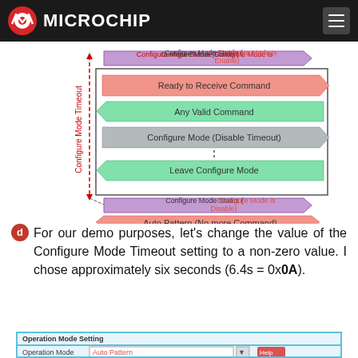Microchip
[Figure (flowchart): Configure Mode Timeout timing diagram showing: Configure Mode Status (Configure Mode is Enable) arrow at top, a box with Ready to Receive Command (pink arrow right), Any Valid Command (green arrow left), Configure Mode (Disable Timeout) (gray arrow right), dotted line, Leave Configure Mode (green arrow left), then Configure Mode Status (Configure Mode is Disable) arrow at bottom, and Auto Pattern (No more Command) pink arrow, with a red dashed vertical line labeled Configure Mode Timeout on the left side.]
For our demo purposes, let's change the value of the Configure Mode Timeout setting to a non-zero value. I chose approximately six seconds (6.4s = 0x0A).
[Figure (screenshot): Operation Mode Setting dialog showing Operation Mode input field with Auto Pattern option and Help button, partially visible at bottom of page.]